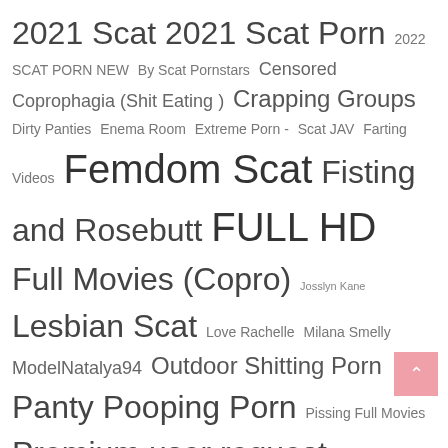2021 Scat  2021 Scat Porn  2022 SCAT PORN NEW  By Scat Pornstars  Censored  Coprophagia (Shit Eating )  Crapping Groups  Dirty Panties  Enema Room  Extreme Porn - Scat JAV  Farting Videos  Femdom Scat  Fisting and Rosebutt  FULL HD  Full Movies (Copro)  Josslyn Kane  Lesbian Scat  Love Rachelle  Milana Smelly  ModelNatalya94  Outdoor Shitting Porn  Panty Pooping Porn  Pissing Full Movies  Premium user request  Samantha Starfish  Scat/Piss - BREAKING NEWS  Scat and Piss Bestsellers  Scatdesire  Scat Food Play  SCAT JAV CENSORED  Scat Solo  Shitting indoor  Shitting Males  Solo Girls  Super Heroes Shit, Piss Vomit  Sweet Betty Parlour  TheFartBabes  Toilet Fetish Sex